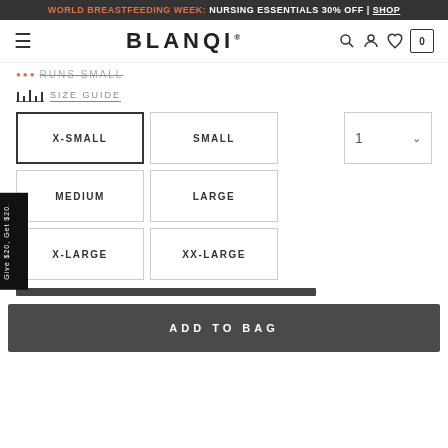WORLD BREASTFEEDING WEEK: NURSING ESSENTIALS 30% OFF | SHOP
BLANQI
RUNS SMALL
SIZE GUIDE
X-SMALL
SMALL
MEDIUM
LARGE
X-LARGE
XX-LARGE
1
Give $20, Get $20.
ADD TO BAG